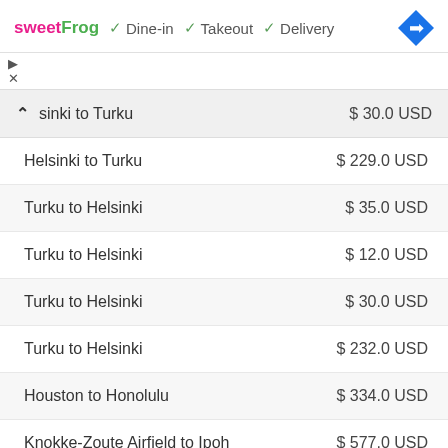sweetFrog ✓ Dine-in ✓ Takeout ✓ Delivery
| Route | Price |
| --- | --- |
| sinki to Turku | $ 30.0 USD |
| Helsinki to Turku | $ 229.0 USD |
| Turku to Helsinki | $ 35.0 USD |
| Turku to Helsinki | $ 12.0 USD |
| Turku to Helsinki | $ 30.0 USD |
| Turku to Helsinki | $ 232.0 USD |
| Houston to Honolulu | $ 334.0 USD |
| Knokke-Zoute Airfield to Ipoh | $ 577.0 USD |
| Tampere to Budapest | $ 189.0 USD |